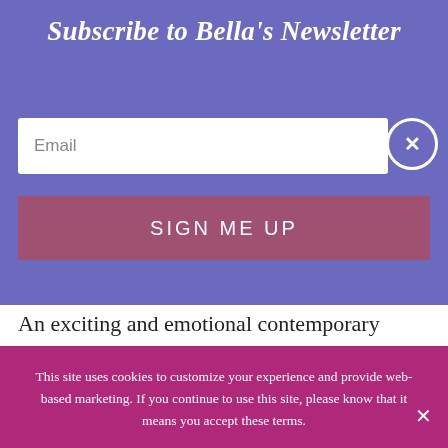Subscribe to Bella's Newsletter
death of Sebastian Smart, all she wants is to heal him with her love. But can a man who has grown up thinking love is toxic ever believe that true love is real?
Email
SIGN ME UP
An exciting and emotional contemporary romance series from New York Times and USA Today bestselling authors Bella Andre and Jennifer Skully!
This site uses cookies to customize your experience and provide web-based marketing. If you continue to use this site, please know that it means you accept these terms.